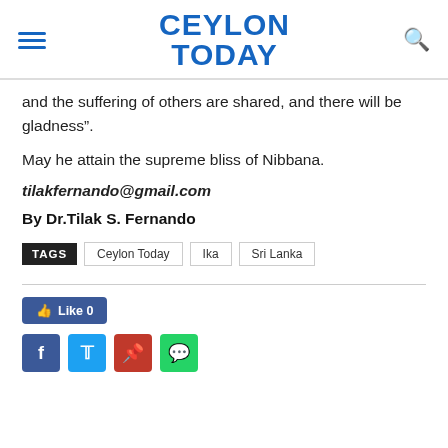CEYLON TODAY
and the suffering of others are shared, and there will be gladness”.
May he attain the supreme bliss of Nibbana.
tilakfernando@gmail.com
By Dr.Tilak S. Fernando
TAGS  Ceylon Today  Ika  Sri Lanka
Like 0